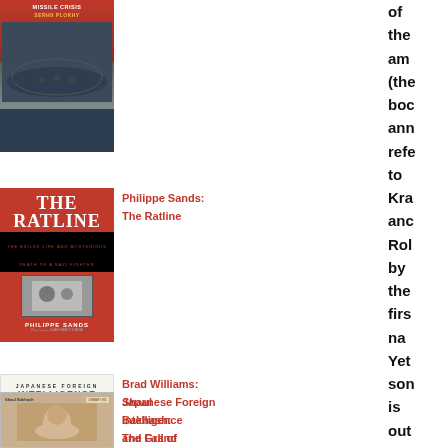[Figure (photo): Book cover of Serhii Plokhy's book (missile crisis theme), red and dark tones]
Philippe Sands: The Ratline
[Figure (photo): Book cover of The Ratline by Philippe Sands, red background with bold white title]
Brad Williams: Japanese Foreign Intelligence and Grand Strategy
[Figure (photo): Book cover of Japanese Foreign Intelligence and Grand Strategy by Brad Williams, white with red sphere]
Shaul Bakhash: The Fall of Reza Shah
[Figure (photo): Book cover of The Fall of Reza Shah by Shaul Bakhash, tan/beige tones with portrait]
of the am (the boc ann refe to Kra anc Rol by the firs na Yet son is out of kilt wh the